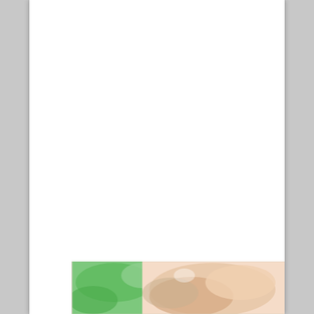[Figure (photo): Partial view of what appears to be a colorful illustrated or photographic image with green and peach/skin tones, shown at the bottom of an otherwise blank white page. Only the top portion of the image is visible, cut off at the page edge.]